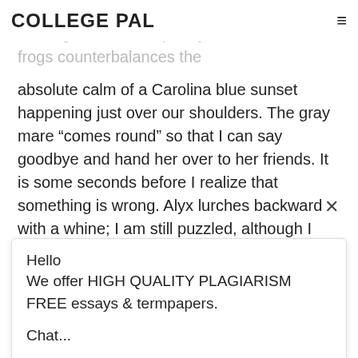COLLEGE PAL
absolute calm of a Carolina blue sunset happening just over our shoulders. The gray mare “comes round” so that I can say goodbye and hand her over to her friends. It is some seconds before I realize that something is wrong. Alyx lurches backward with a whine; I am still puzzled, although I now realize that my body seems to be working in slow motion. Alyx catches my eye and it finally dawns on me: we are
Hello
We offer HIGH QUALITY PLAGIARISM FREE essays & termpapers.

Chat...
Chat Here